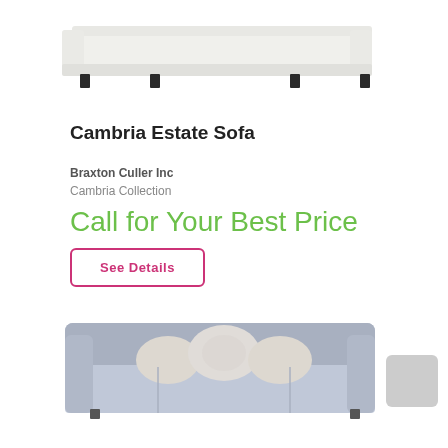[Figure (photo): Top portion of a light-colored sofa/ottoman with dark feet, cropped at top of page]
Cambria Estate Sofa
Braxton Culler Inc
Cambria Collection
Call for Your Best Price
See Details
[Figure (photo): Gray sofa with decorative pillows, partially visible at bottom of page]